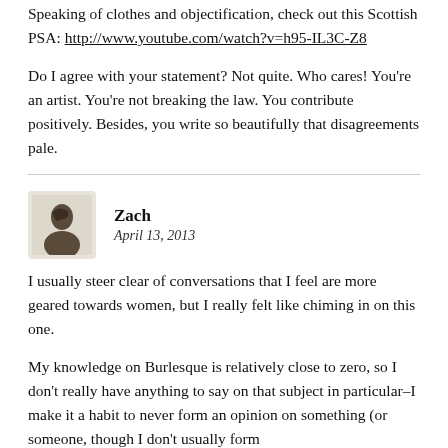Speaking of clothes and objectification, check out this Scottish PSA: http://www.youtube.com/watch?v=h95-IL3C-Z8
Do I agree with your statement? Not quite. Who cares! You're an artist. You're not breaking the law. You contribute positively. Besides, you write so beautifully that disagreements pale.
Zach
April 13, 2013
I usually steer clear of conversations that I feel are more geared towards women, but I really felt like chiming in on this one.
My knowledge on Burlesque is relatively close to zero, so I don't really have anything to say on that subject in particular–I make it a habit to never form an opinion on something (or someone, though I don't usually form